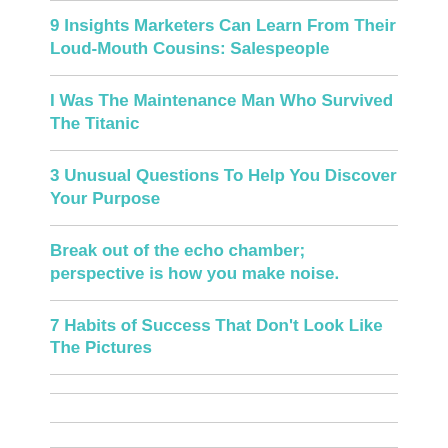9 Insights Marketers Can Learn From Their Loud-Mouth Cousins: Salespeople
I Was The Maintenance Man Who Survived The Titanic
3 Unusual Questions To Help You Discover Your Purpose
Break out of the echo chamber; perspective is how you make noise.
7 Habits of Success That Don't Look Like The Pictures
Recent Comments